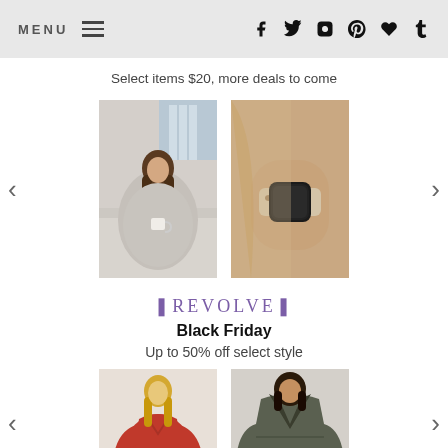MENU (hamburger icon) | social icons: f, twitter, instagram, pinterest, heart, tumblr
Select items $20, more deals to come
[Figure (photo): Two product images in a carousel: left image shows a woman sitting on a couch wrapped in a grey blanket holding a mug; right image shows a woman's wrist wearing a leopard-print Apple Watch band.]
❚REVOLVE❚
Black Friday
Up to 50% off select style
[Figure (photo): Two fashion product images in a carousel: left image shows a woman in a red long-sleeve mini dress; right image shows a woman in an olive/dark green puffer jacket.]